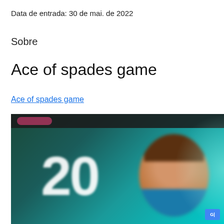Data de entrada: 30 de mai. de 2022
Sobre
Ace of spades game
Ace of spades game
[Figure (screenshot): Screenshot of a gaming website showing a dark background with teal/cyan colors, a large white '20' text, and a blurred face of a person wearing a blue shirt. A Google Translate icon is visible in the bottom right corner.]